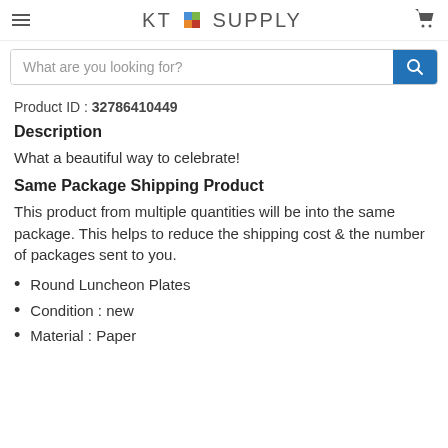KT SUPPLY
What are you looking for?
Product ID : 32786410449
Description
What a beautiful way to celebrate!
Same Package Shipping Product
This product from multiple quantities will be into the same package. This helps to reduce the shipping cost & the number of packages sent to you.
Round Luncheon Plates
Condition : new
Material : Paper